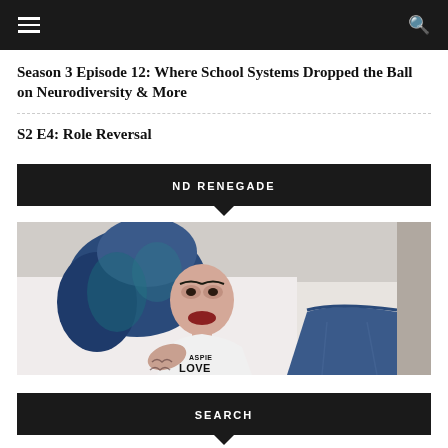navigation bar with hamburger menu and search icon
Season 3 Episode 12: Where School Systems Dropped the Ball on Neurodiversity & More
S2 E4: Role Reversal
ND RENEGADE
[Figure (photo): Woman with blue hair lying down wearing a white t-shirt that reads 'ASPIE LOVE', with tattoos on her arm and wearing denim shorts]
SEARCH